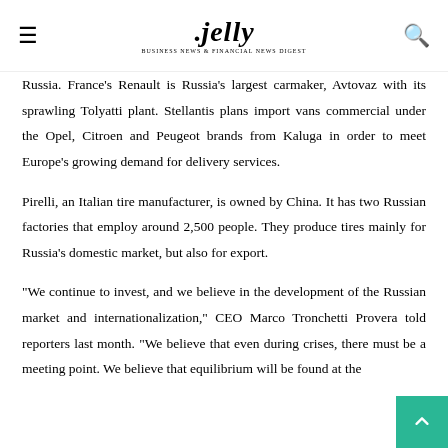.jelly
Russia. France's Renault is Russia's largest carmaker, Avtovaz with its sprawling Tolyatti plant. Stellantis plans import vans commercial under the Opel, Citroen and Peugeot brands from Kaluga in order to meet Europe's growing demand for delivery services.
Pirelli, an Italian tire manufacturer, is owned by China. It has two Russian factories that employ around 2,500 people. They produce tires mainly for Russia's domestic market, but also for export.
"We continue to invest, and we believe in the development of the Russian market and internationalization," CEO Marco Tronchetti Provera told reporters last month. "We believe that even during crises, there must be a meeting point. We believe that equilibrium will be found at the